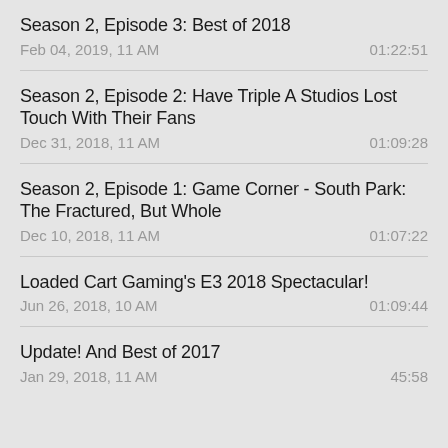Season 2, Episode 3: Best of 2018
Feb 04, 2019, 11 AM	01:22:51
Season 2, Episode 2: Have Triple A Studios Lost Touch With Their Fans
Dec 31, 2018, 11 AM	01:09:28
Season 2, Episode 1: Game Corner - South Park: The Fractured, But Whole
Dec 10, 2018, 11 AM	01:07:22
Loaded Cart Gaming's E3 2018 Spectacular!
Jun 26, 2018, 10 AM	01:09:44
Update! And Best of 2017
Jan 29, 2018, 11 AM	45:58